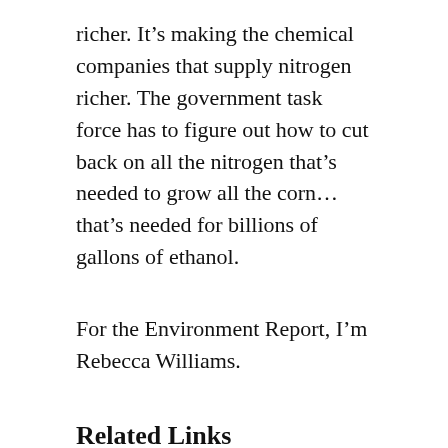richer. It's making the chemical companies that supply nitrogen richer. The government task force has to figure out how to cut back on all the nitrogen that's needed to grow all the corn… that's needed for billions of gallons of ethanol.
For the Environment Report, I'm Rebecca Williams.
Related Links